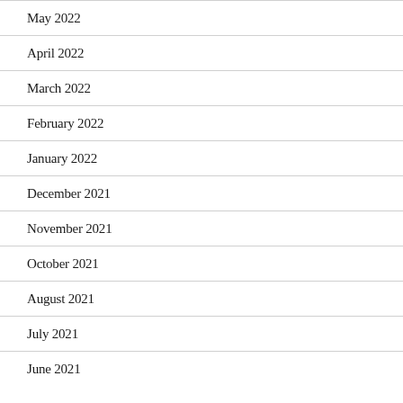May 2022
April 2022
March 2022
February 2022
January 2022
December 2021
November 2021
October 2021
August 2021
July 2021
June 2021